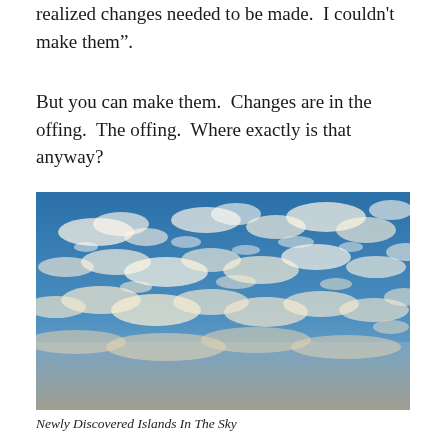realized changes needed to be made.  I couldn't make them".
But you can make them.  Changes are in the offing.  The offing.  Where exactly is that anyway?
[Figure (photo): A photograph of a blue sky filled with scattered white and light-brown cirrocumulus clouds, stretching across the frame with a warm, slightly golden tone in the lower portion.]
Newly Discovered Islands In The Sky